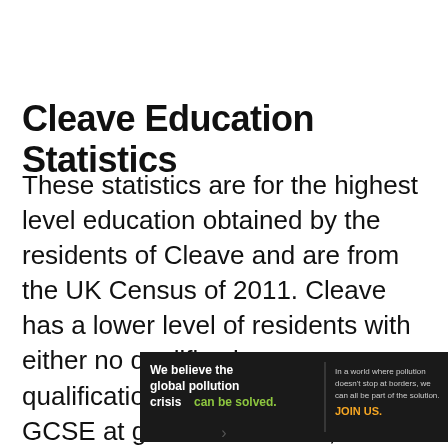Cleave Education Statistics
These statistics are for the highest level education obtained by the residents of Cleave and are from the UK Census of 2011. Cleave has a lower level of residents with either no qualifications or qualifications equal to 1 or more GCSE at grade D or below, than the national
[Figure (other): Advertisement banner for Pure Earth showing text 'We believe the global pollution crisis can be solved.' and 'In a world where pollution doesn't stop at borders, we can all be part of the solution. JOIN US.' with Pure Earth logo.]